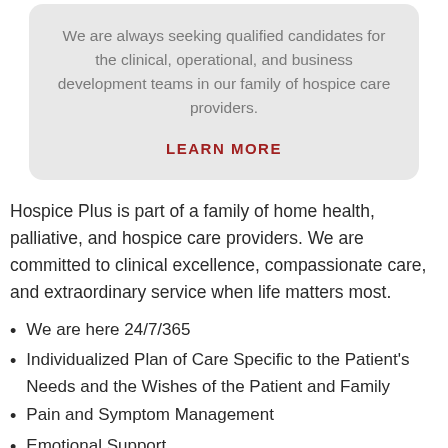We are always seeking qualified candidates for the clinical, operational, and business development teams in our family of hospice care providers.
LEARN MORE
Hospice Plus is part of a family of home health, palliative, and hospice care providers. We are committed to clinical excellence, compassionate care, and extraordinary service when life matters most.
We are here 24/7/365
Individualized Plan of Care Specific to the Patient's Needs and the Wishes of the Patient and Family
Pain and Symptom Management
Emotional Support